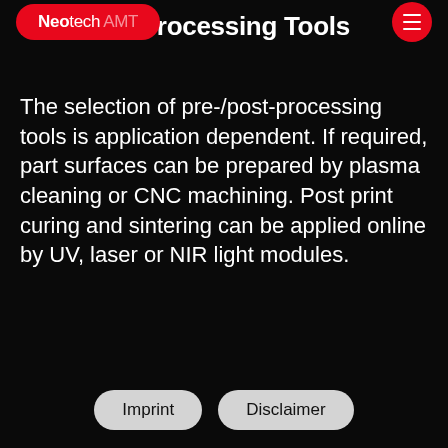Neotech AMT
Pre-/Post-Processing Tools
The selection of pre-/post-processing tools is application dependent. If required, part surfaces can be prepared by plasma cleaning or CNC machining. Post print curing and sintering can be applied online by UV, laser or NIR light modules.
Imprint   Disclaimer